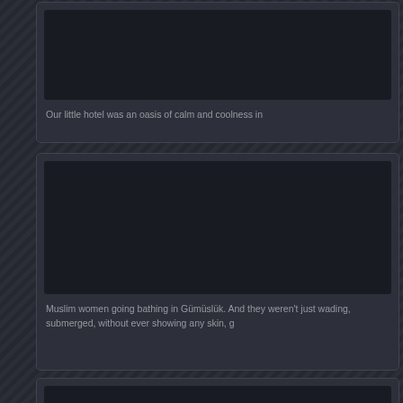[Figure (photo): Dark card with image placeholder area at top]
Our little hotel was an oasis of calm and coolness in
[Figure (photo): Dark card with image placeholder area at top]
Muslim women going bathing in Gümüslük. And they weren't just wading, they were fully submerged, without ever showing any skin, g
[Figure (photo): Dark card with image placeholder area at top]
Lunch our last day at the very tony beach in Türbükü: tomato salad, eggpla
[Figure (photo): Photo of a man smiling, outdoors with autumn foliage in background]